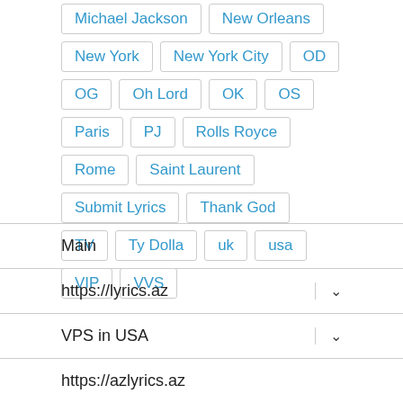Michael Jackson
New Orleans
New York
New York City
OD
OG
Oh Lord
OK
OS
Paris
PJ
Rolls Royce
Rome
Saint Laurent
Submit Lyrics
Thank God
TV
Ty Dolla
uk
usa
VIP
VVS
Main
https://lyrics.az
VPS in USA
https://azlyrics.az